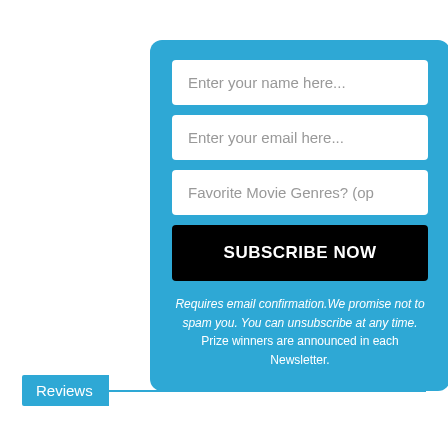[Figure (other): Blue subscription form card with three input fields, a Subscribe Now button, and disclaimer text]
Requires email confirmation.We promise not to spam you. You can unsubscribe at any time. Prize winners are announced in each Newsletter.
Reviews